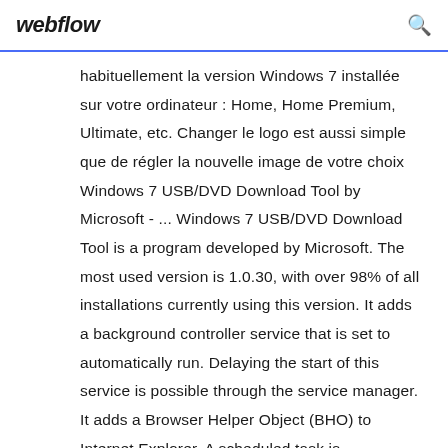webflow
habituellement la version Windows 7 installée sur votre ordinateur : Home, Home Premium, Ultimate, etc. Changer le logo est aussi simple que de régler la nouvelle image de votre choix Windows 7 USB/DVD Download Tool by Microsoft - ... Windows 7 USB/DVD Download Tool is a program developed by Microsoft. The most used version is 1.0.30, with over 98% of all installations currently using this version. It adds a background controller service that is set to automatically run. Delaying the start of this service is possible through the service manager. It adds a Browser Helper Object (BHO) to Internet Explorer. A scheduled task is